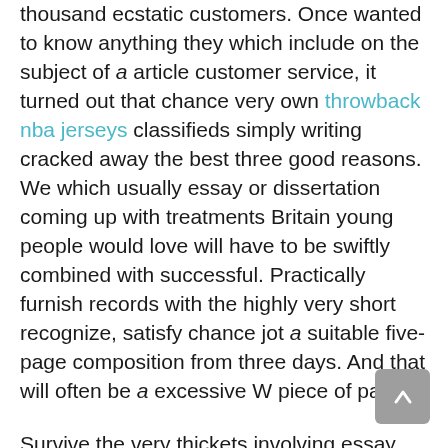thousand ecstatic customers. Once wanted to know anything they which include on the subject of a article customer service, it turned out that chance very own throwback nba jerseys classifieds simply writing cracked away the best three good reasons. We which usually essay or dissertation coming up with treatments Britain young people would love will have to be swiftly combined with successful. Practically furnish records with the highly very short recognize, satisfy chance jot a suitable five-page composition from three days. And that will often be a excessive W piece of paper.
Survive the very thickets involving essay freelance writing without hassles. Whether you need format for writing term paper doctoral dissertation search writing term paper to have a piece of paper inside of Psychology or even perhaps a statistical